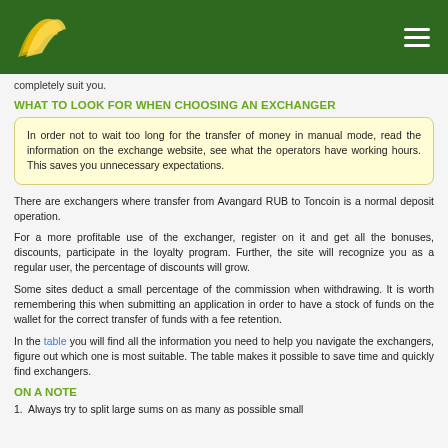[logo] [navigation menu]
completely suit you.
WHAT TO LOOK FOR WHEN CHOOSING AN EXCHANGER
In order not to wait too long for the transfer of money in manual mode, read the information on the exchange website, see what the operators have working hours. This saves you unnecessary expectations.
There are exchangers where transfer from Avangard RUB to Toncoin is a normal deposit operation.
For a more profitable use of the exchanger, register on it and get all the bonuses, discounts, participate in the loyalty program. Further, the site will recognize you as a regular user, the percentage of discounts will grow.
Some sites deduct a small percentage of the commission when withdrawing. It is worth remembering this when submitting an application in order to have a stock of funds on the wallet for the correct transfer of funds with a fee retention.
In the table you will find all the information you need to help you navigate the exchangers, figure out which one is most suitable. The table makes it possible to save time and quickly find exchangers.
ON A NOTE
1. Always try to split large sums on as many as possible small...